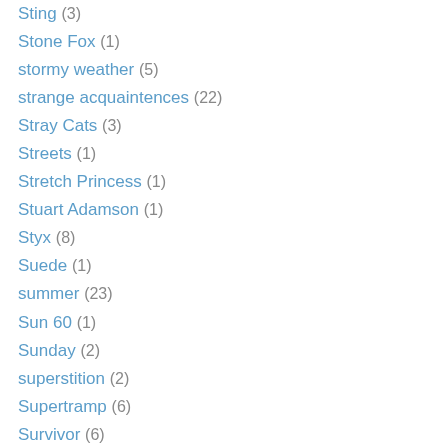Sting (3)
Stone Fox (1)
stormy weather (5)
strange acquaintences (22)
Stray Cats (3)
Streets (1)
Stretch Princess (1)
Stuart Adamson (1)
Styx (8)
Suede (1)
summer (23)
Sun 60 (1)
Sunday (2)
superstition (2)
Supertramp (6)
Survivor (6)
Survivorman (television) (1)
Suzi Quatro (3)
Swan Dive (2)
Swing Out Sister (2)